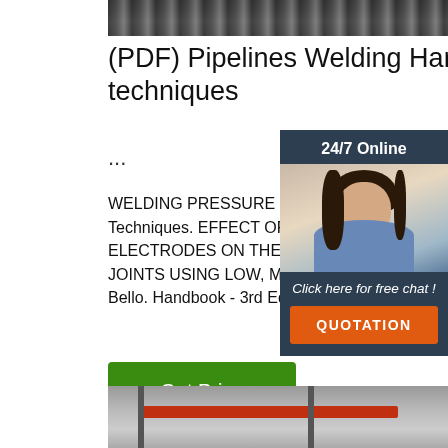[Figure (photo): Top photo of metal pipes or welding equipment]
(PDF) Pipelines Welding Handbook • Welding techniques ...
[Figure (photo): Sidebar with customer service agent wearing headset, 24/7 Online label, Click here for free chat, and QUOTATION button]
WELDING PRESSURE PIPELINES & P SYSTEMS Procedures and Techniques. EFFECT OF SANTA, J- AND POWER F WELDING ELECTRODES ON THE MECHANICAL PROPERTIES OF ARC W JOINTS USING LOW, MEDIUM AND HI CARBON STEELS. By mustapha Bello. Handbook - 3rd Edition.
[Figure (screenshot): Get Price green button]
[Figure (photo): Bottom photo of industrial building interior with red crane beam]